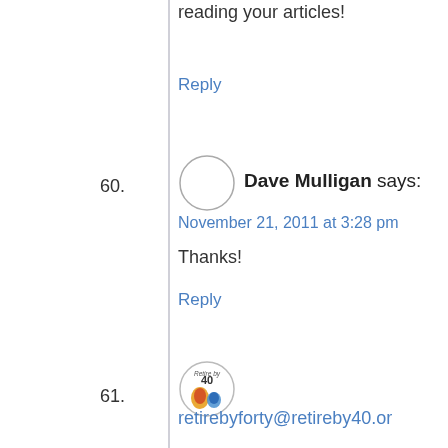I am an RSS subscriber Love reading your articles!
Reply
60. Dave Mulligan says:
November 21, 2011 at 3:28 pm
Thanks!
Reply
61. retirebyforty@retireby40.or g says: